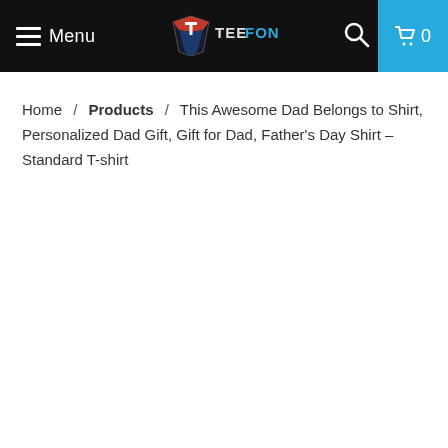Menu | TEEFONIX | [search] [cart: 0]
Home / Products / This Awesome Dad Belongs to Shirt, Personalized Dad Gift, Gift for Dad, Father's Day Shirt - Standard T-shirt